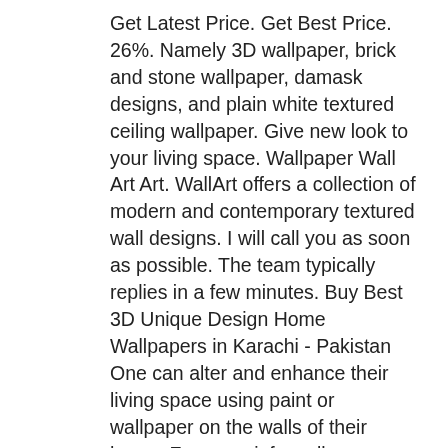Get Latest Price. Get Best Price. 26%. Namely 3D wallpaper, brick and stone wallpaper, damask designs, and plain white textured ceiling wallpaper. Give new look to your living space. Wallpaper Wall Art Art. WallArt offers a collection of modern and contemporary textured wall designs. I will call you as soon as possible. The team typically replies in a few minutes. Buy Best 3D Unique Design Home Wallpapers in Karachi - Pakistan One can alter and enhance their living space using paint or wallpaper on the walls of their home. For more info, call 07087942745 or send mail to ebukanworah@ymail.com Hi! ₦ 5,399. +971 43409377 inquiry@trinitymediauae.com Enquiry Small Wall Big Impact in Kitchen Design There's even one with baby elephants suitable for the modern nursery. See more ideas about boundary walls, wall design, architecture. Quick View. Nigeria's largest seller of wallpapers, photo murals and interior design products Click one of our member below to chat on. Monday -